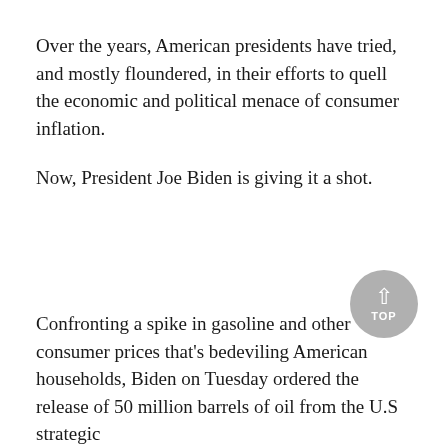Over the years, American presidents have tried, and mostly floundered, in their efforts to quell the economic and political menace of consumer inflation.
Now, President Joe Biden is giving it a shot.
Confronting a spike in gasoline and other consumer prices that's bedeviling American households, Biden on Tuesday ordered the release of 50 million barrels of oil from the U.S strategic